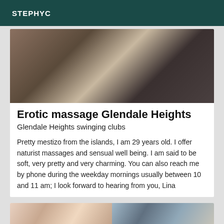STEPHYC
[Figure (photo): Blurred photo of a person lying down, wearing a black and pink bikini top, with another person's arm visible]
Erotic massage Glendale Heights
Glendale Heights swinging clubs
Pretty mestizo from the islands, I am 29 years old. I offer naturist massages and sensual well being. I am said to be soft, very pretty and very charming. You can also reach me by phone during the weekday mornings usually between 10 and 11 am; I look forward to hearing from you, Lina
[Figure (photo): Two partial photos at the bottom: left shows colorful organized items on shelves, right shows a room with photos on wall]